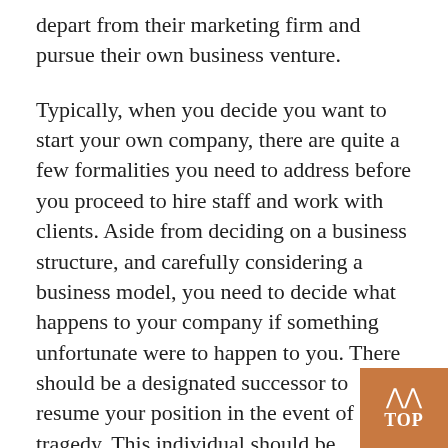depart from their marketing firm and pursue their own business venture.
Typically, when you decide you want to start your own company, there are quite a few formalities you need to address before you proceed to hire staff and work with clients. Aside from deciding on a business structure, and carefully considering a business model, you need to decide what happens to your company if something unfortunate were to happen to you. There should be a designated successor to resume your position in the event of a tragedy. This individual should be thoroughly vetted and possess the skills necessary to continue toward your company's mission. In this particular case, it would appear that Mark's superior didn't consider this ahead of time, and they...